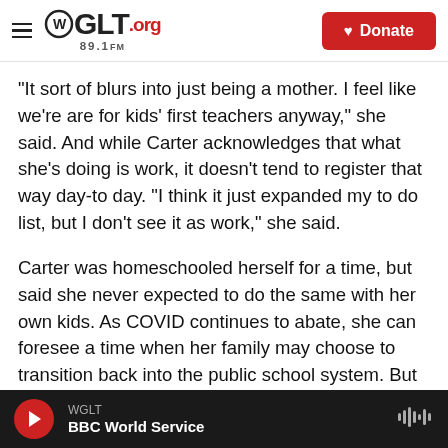WGLT.org 89.1FM — Donate
"It sort of blurs into just being a mother. I feel like we're are for kids' first teachers anyway," she said. And while Carter acknowledges that what she's doing is work, it doesn't tend to register that way day-to day. "I think it just expanded my to do list, but I don't see it as work," she said.
Carter was homeschooled herself for a time, but said she never expected to do the same with her own kids. As COVID continues to abate, she can foresee a time when her family may choose to transition back into the public school system. But that will leave the question of what comes next for
WGLT — BBC World Service